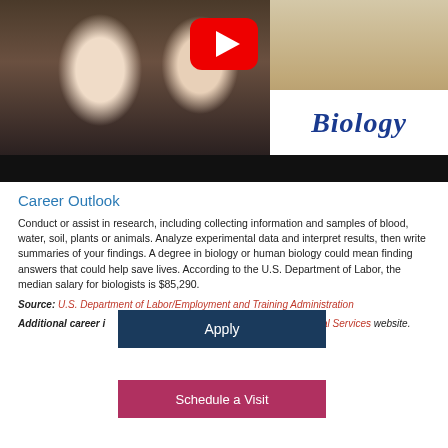[Figure (photo): Video thumbnail showing two women smiling in a biology lab setting, with a YouTube play button overlay and 'Biology' text in italic blue font on a white panel in the lower right]
Career Outlook
Conduct or assist in research, including collecting information and samples of blood, water, soil, plants or animals. Analyze experimental data and interpret results, then write summaries of your findings. A degree in biology or human biology could mean finding answers that could help save lives. According to the U.S. Department of Labor, the median salary for biologists is $85,290.
Source: U.S. Department of Labor/Employment and Training Administration
Additional career information is available on the Institute of Biological Services website.